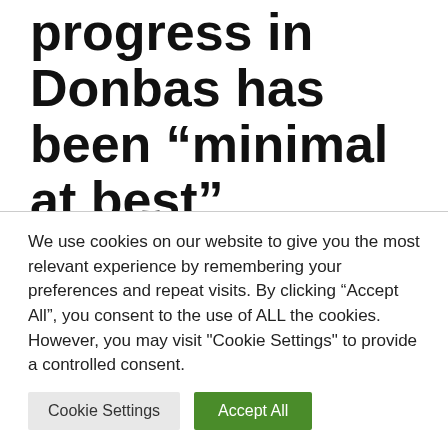progress in Donbas has been “minimal at best”
May 2, 2022 by admin
The Pentagon assesses that Russia’s
We use cookies on our website to give you the most relevant experience by remembering your preferences and repeat visits. By clicking “Accept All”, you consent to the use of ALL the cookies. However, you may visit "Cookie Settings" to provide a controlled consent.